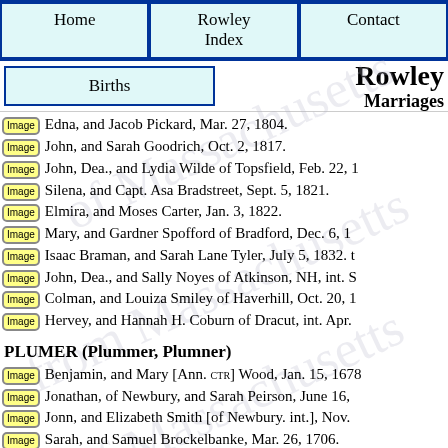Home | Rowley Index | Contact
Births | Rowley Marriages
Edna, and Jacob Pickard, Mar. 27, 1804.
John, and Sarah Goodrich, Oct. 2, 1817.
John, Dea., and Lydia Wilde of Topsfield, Feb. 22, 1...
Silena, and Capt. Asa Bradstreet, Sept. 5, 1821.
Elmira, and Moses Carter, Jan. 3, 1822.
Mary, and Gardner Spofford of Bradford, Dec. 6, 18...
Isaac Braman, and Sarah Lane Tyler, July 5, 1832. t...
John, Dea., and Sally Noyes of Atkinson, NH, int. S...
Colman, and Louiza Smiley of Haverhill, Oct. 20, 1...
Hervey, and Hannah H. Coburn of Dracut, int. Apr....
PLUMER (Plummer, Plumner)
Benjamin, and Mary [Ann. CTR] Wood, Jan. 15, 1678...
Jonathan, of Newbury, and Sarah Peirson, June 16, ...
Jonn, and Elizabeth Smith [of Newbury. int.], Nov. ...
Sarah, and Samuel Brockelbanke, Mar. 26, 1706.